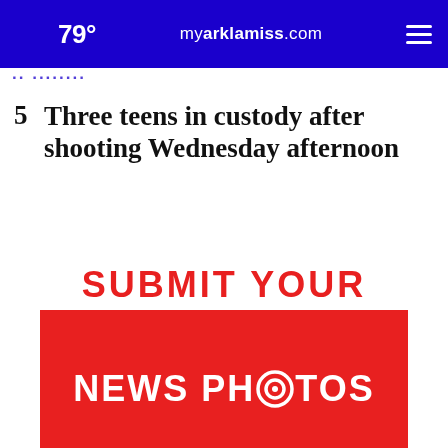79° myarklamiss.com
5  Three teens in custody after shooting Wednesday afternoon
[Figure (infographic): Advertisement banner reading 'SUBMIT YOUR NEWS PHOTOS' in red and white, with a camera icon replacing the 'O' in PHOTOS, on a red background]